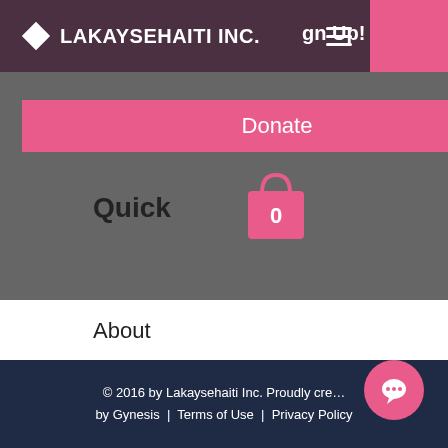LAKAYSEHAITI INC.
Sign Up!
Donate
Quick Links
About
Support Us
News
Events
ct
© 2016 by Lakaysehaiti Inc. Proudly created by Gynesis | Terms of Use | Privacy Policy